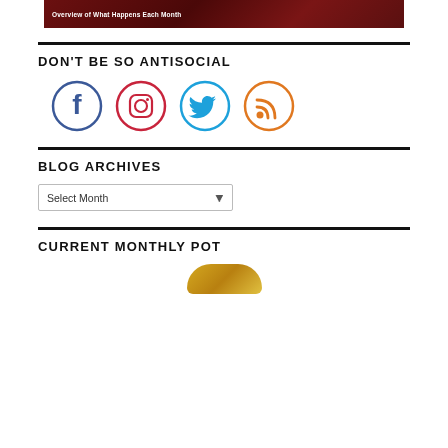[Figure (screenshot): Dark red banner image with white bold text reading 'Overview of What Happens Each Month']
DON'T BE SO ANTISOCIAL
[Figure (infographic): Four social media icons in circles: Facebook (blue), Instagram (red), Twitter (cyan), RSS (orange)]
BLOG ARCHIVES
[Figure (screenshot): Dropdown select box with text 'Select Month' and a dropdown arrow]
CURRENT MONTHLY POT
[Figure (photo): Partial image of a golden pot/trophy at the bottom of the page]